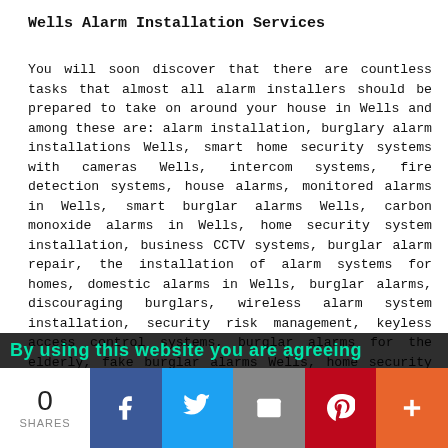Wells Alarm Installation Services
You will soon discover that there are countless tasks that almost all alarm installers should be prepared to take on around your house in Wells and among these are: alarm installation, burglary alarm installations Wells, smart home security systems with cameras Wells, intercom systems, fire detection systems, house alarms, monitored alarms in Wells, smart burglar alarms Wells, carbon monoxide alarms in Wells, home security system installation, business CCTV systems, burglar alarm repair, the installation of alarm systems for homes, domestic alarms in Wells, burglar alarms, discouraging burglars, wireless alarm system installation, security risk management, keyless access control systems, burglar alarms for the elderly, fake burglar alarms Wells, home security systems Wells, burglar alarm estimates Wells, burglar alarm servicing, smart alarm systems in Wells, remote home monitoring, commercial property security, perimeter security in Wells, burglar alarm accreditations, commercial alarm installations, burglar alarm maintenance, intruder alarms in Wells, and a lot more not listed here. Listed are just a handful of the activities that are handled by those installing burglar
By using this website you are agreeing
0 SHARES